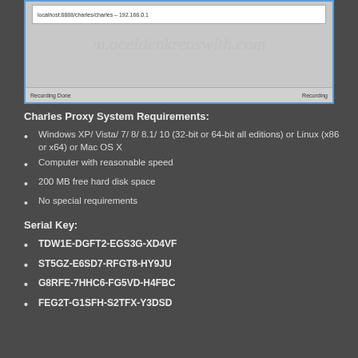[Figure (screenshot): Screenshot of Charles Proxy application window showing recording interface with watermark text and Recording Done / Recording status bar]
Charles Proxy System Requirements:
Windows XP/ Vista/ 7/ 8/ 8.1/ 10 (32-bit or 64-bit all editions) or Linux (x86 or x64) or Mac OS X
Computer with reasonable speed
200 MB free hard disk space
No special requirements
Serial Key:
TDW1E-DGFT2-EGS3G-XD4VF
ST5GZ-E6SD7-RFGT8-HY9JU
G8RFE-7HHC6-FG5VD-H4FBC
FEG2T-G1SFH-S2TFX-Y3DSD